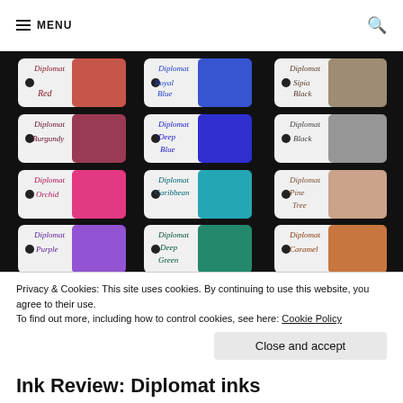MENU
[Figure (photo): Grid of Diplomat ink swatches on white cards with handwritten labels: Diplomat Red, Diplomat Royal Blue, Diplomat Sipia Black, Diplomat Burgundy, Diplomat Deep Blue, Diplomat Black, Diplomat Orchid, Diplomat Caribbean, Diplomat Pine Tree, Diplomat Purple, Diplomat Deep Green, Diplomat Caramel — arranged in 4 rows of 3 on a dark background.]
Privacy & Cookies: This site uses cookies. By continuing to use this website, you agree to their use.
To find out more, including how to control cookies, see here: Cookie Policy
Close and accept
Ink Review: Diplomat inks